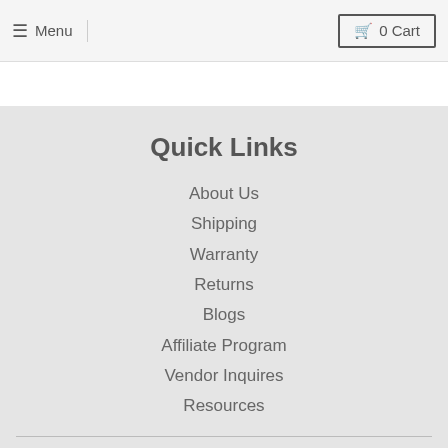☰ Menu   🛒 0 Cart
Quick Links
About Us
Shipping
Warranty
Returns
Blogs
Affiliate Program
Vendor Inquires
Resources
We'll Keep You Updated